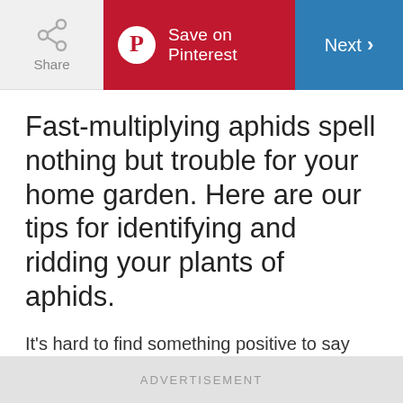Share | Save on Pinterest | Next
Fast-multiplying aphids spell nothing but trouble for your home garden. Here are our tips for identifying and ridding your plants of aphids.
It's hard to find something positive to say about aphids. These pesky insects damage food and fiber crops across the world and have killed many an
ADVERTISEMENT